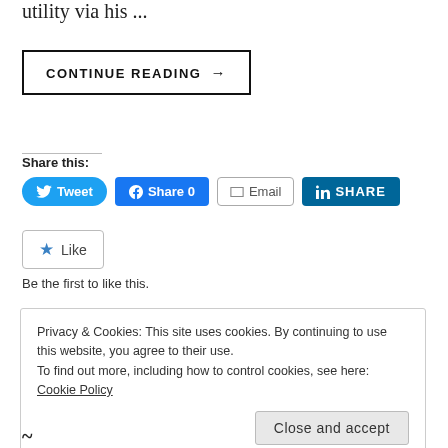utility via his ...
CONTINUE READING →
Share this:
[Figure (other): Social sharing buttons: Tweet (Twitter), Share 0 (Facebook), Email, SHARE (LinkedIn)]
[Figure (other): Like button with star icon]
Be the first to like this.
Privacy & Cookies: This site uses cookies. By continuing to use this website, you agree to their use. To find out more, including how to control cookies, see here: Cookie Policy
Close and accept
~